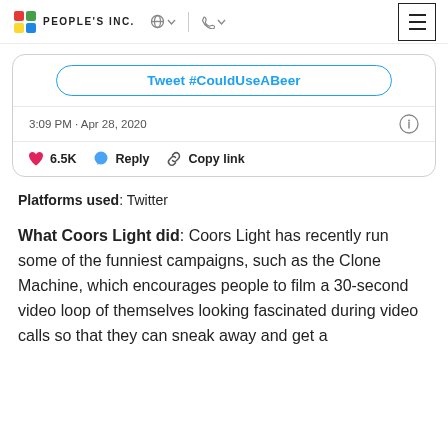PEOPLE'S INC.
[Figure (screenshot): Partial Twitter/X tweet card showing a 'Tweet #CouldUseABeer' button, timestamp '3:09 PM · Apr 28, 2020', and action bar with 6.5K likes, Reply, and Copy link.]
Platforms used: Twitter
What Coors Light did: Coors Light has recently run some of the funniest campaigns, such as the Clone Machine, which encourages people to film a 30-second video loop of themselves looking fascinated during video calls so that they can sneak away and get a